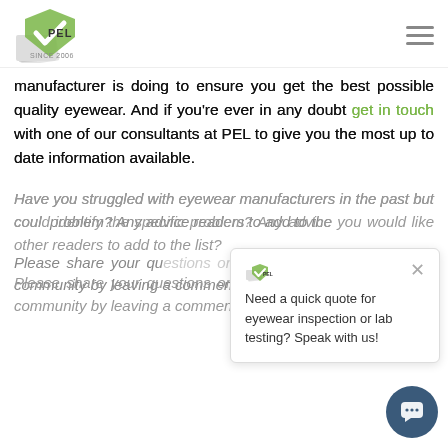[Figure (logo): PEL company logo with green checkmark and stacked pages, text 'SINCE 2006']
manufacturer is doing to ensure you get the best possible quality eyewear. And if you're ever in any doubt get in touch with one of our consultants at PEL to give you the most up to date information available.
Have you struggled with eyewear manufacturers in the past but couldn't identify the specific problem? Any advice you would like other readers to add to the list?
Please share your questions or experiences with us and our community by leaving a comment below.
[Figure (screenshot): Chat popup widget with PEL mini-logo, close X button, and text: Need a quick quote for eyewear inspection or lab testing? Speak with us!]
[Figure (illustration): Dark blue circular chat button with white speech bubble icon in bottom right corner]